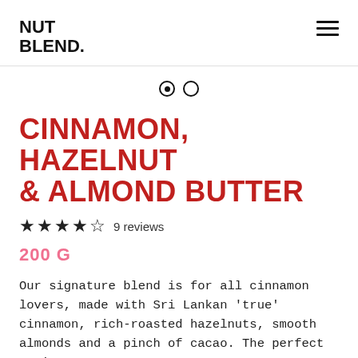NUT BLEND.
[Figure (other): Carousel navigation dots: one filled dot and one empty dot indicating slide position]
CINNAMON, HAZELNUT & ALMOND BUTTER
★★★★☆ 9 reviews
200 G
Our signature blend is for all cinnamon lovers, made with Sri Lankan 'true' cinnamon, rich-roasted hazelnuts, smooth almonds and a pinch of cacao. The perfect recipe.